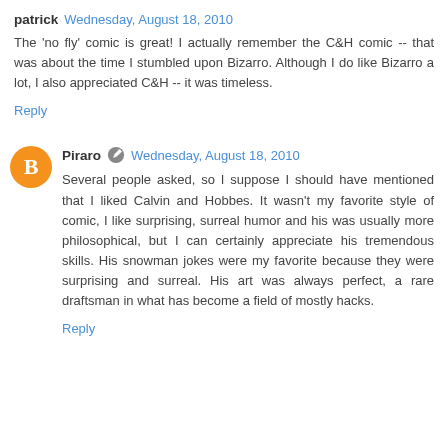patrick  Wednesday, August 18, 2010
The 'no fly' comic is great! I actually remember the C&H comic -- that was about the time I stumbled upon Bizarro. Although I do like Bizarro a lot, I also appreciated C&H -- it was timeless.
Reply
Piraro  Wednesday, August 18, 2010
Several people asked, so I suppose I should have mentioned that I liked Calvin and Hobbes. It wasn't my favorite style of comic, I like surprising, surreal humor and his was usually more philosophical, but I can certainly appreciate his tremendous skills. His snowman jokes were my favorite because they were surprising and surreal. His art was always perfect, a rare draftsman in what has become a field of mostly hacks.
Reply